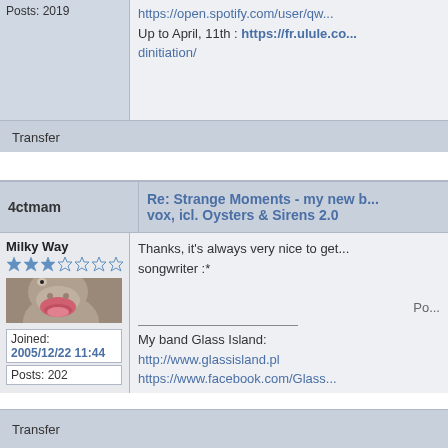Posts: 2019
https://open.spotify.com/user/qw... Up to April, 11th : https://fr.ulule.co... dinitiation/
Transfer
4ctmam
Re: Strange Moments - my new b... vox, icl. Oysters & Sirens 2.0
Milky Way
[Figure (photo): Avatar photo of a ceramic hippo figurine with open mouth]
Joined: 2005/12/22 11:44
Posts: 202
Thanks, it's always very nice to get... songwriter :*
Po...
My band Glass Island:
http://www.glassisland.pl
https://www.facebook.com/Glass...
https://glassislandpoland.bandca...
My other band Strange Moments:
https://www.facebook.com/Stran...
https://strangemoments.bandcan...
Transfer